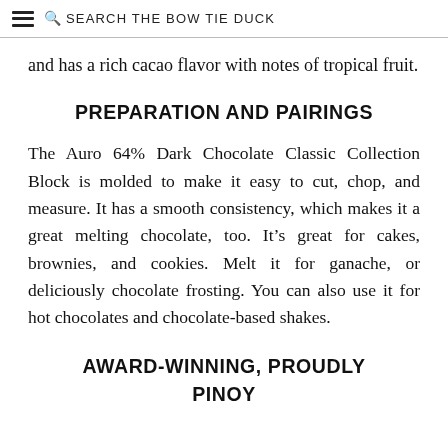SEARCH THE BOW TIE DUCK
and has a rich cacao flavor with notes of tropical fruit.
PREPARATION AND PAIRINGS
The Auro 64% Dark Chocolate Classic Collection Block is molded to make it easy to cut, chop, and measure. It has a smooth consistency, which makes it a great melting chocolate, too. It’s great for cakes, brownies, and cookies. Melt it for ganache, or deliciously chocolate frosting. You can also use it for hot chocolates and chocolate-based shakes.
AWARD-WINNING, PROUDLY PINOY